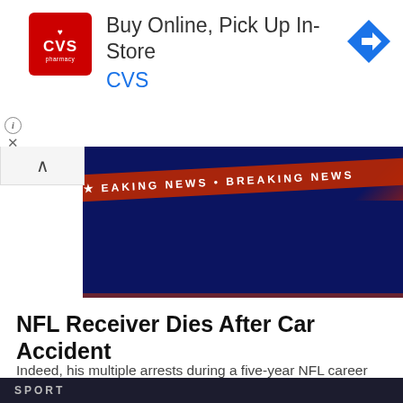[Figure (other): CVS Pharmacy advertisement banner: 'Buy Online, Pick Up In-Store' with CVS logo and navigation arrow icon]
[Figure (photo): Breaking news TV broadcast background image — dark blue studio background with red 'BREAKING NEWS' ticker banner text visible]
NFL Receiver Dies After Car Accident
Indeed, his multiple arrests during a five-year NFL career were among the factors prompting the league to toughen its personal conduct policy. But to hear his teammates tell it — even the team's owner — the Bengals receiver was determined to leave behind his troubled past and move ahead toward a bright future....
[Figure (photo): Partially visible bottom image with label 'SPORT']